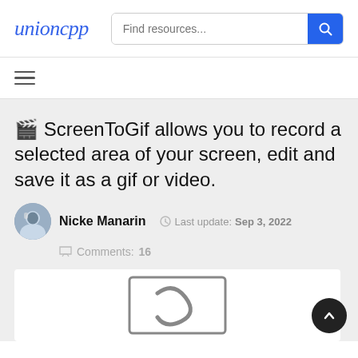unioncpp | Find resources...
🎬 ScreenToGif allows you to record a selected area of your screen, edit and save it as a gif or video.
Nicke Manarin  ·  Last update: Sep 3, 2022  ·  Comments: 16
[Figure (screenshot): Partial screenshot of the ScreenToGif logo — stylized 'S' letter in a square frame, visible at the bottom of the page.]